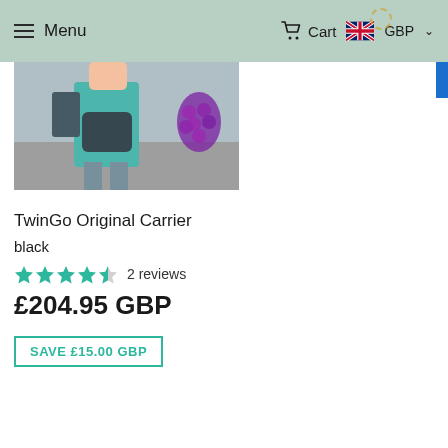Menu   Cart   GBP
[Figure (photo): Partial product photo showing a person wearing or carrying a baby carrier, with purple grapes visible in background]
TwinGo Original Carrier
black
★★★★½  2 reviews
£204.95 GBP
SAVE £15.00 GBP